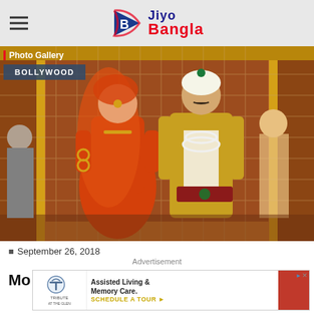Jiyo Bangla
[Figure (photo): Bollywood photo gallery image showing two actors in elaborate Mughal-era historical costumes. A woman in orange/red bridal attire with gold jewelry and a man in ornate gold embroidered royal outfit with white crown and pearl necklaces. Background shows decorated palace interior with other costumed attendants.]
Photo Gallery — BOLLYWOOD
September 26, 2018
Advertisement
Mo
[Figure (screenshot): Advertisement banner for Tribute at The Glen assisted living facility. Shows logo, text 'Assisted Living & Memory Care. SCHEDULE A TOUR' with a person in red visible on right side.]